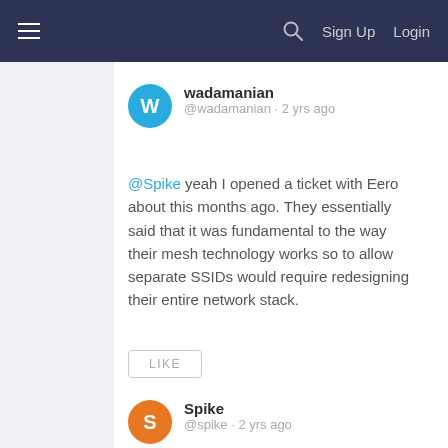Sign Up  Login
wadamanian
@wadamanian · 2 yrs ago
@Spike yeah I opened a ticket with Eero about this months ago. They essentially said that it was fundamental to the way their mesh technology works so to allow separate SSIDs would require redesigning their entire network stack.
LIKE
Spike
@spike · 2 yrs ago